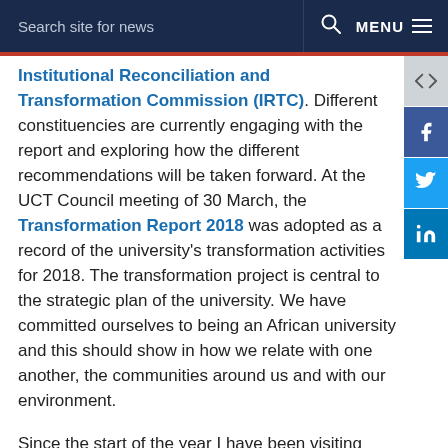Search site for news   MENU
Institutional Reconciliation and Transformation Commission (IRTC). Different constituencies are currently engaging with the report and exploring how the different recommendations will be taken forward. At the UCT Council meeting of 30 March, the Transformation Report 2018 was adopted as a record of the university's transformation activities for 2018. The transformation project is central to the strategic plan of the university. We have committed ourselves to being an African university and this should show in how we relate with one another, the communities around us and with our environment.
Since the start of the year I have been visiting UCT residences to connect and interact with students. This initiative is largely intended to reshape the relationship between the university leadership and our students. I